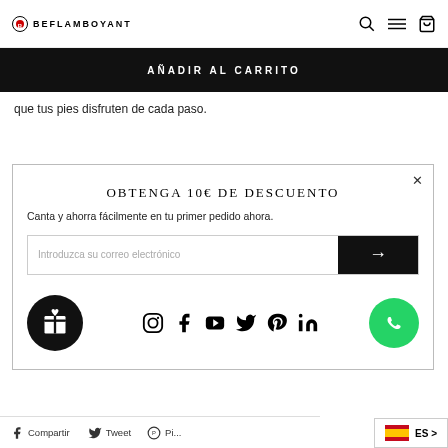BE FLAMBOYANT
AÑADIR AL CARRITO
que tus pies disfruten de cada paso.
OBTENGA 10€ DE DESCUENTO
Canta y ahorra fácilmente en tu primer pedido ahora.
Introduzca su correo electrónico
[Figure (infographic): Social media icons row: Instagram, Facebook, YouTube, Twitter, Pinterest, LinkedIn]
Compartir  Tweet  Pi...
ES >